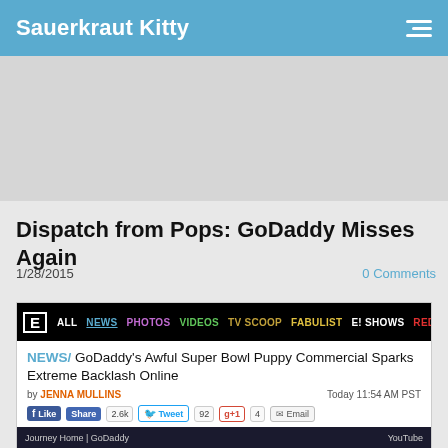Sauerkraut Kitty
[Figure (other): Grey advertisement placeholder area]
Dispatch from Pops: GoDaddy Misses Again
1/28/2015
0 Comments
[Figure (screenshot): Screenshot of E! News article: 'GoDaddy's Awful Super Bowl Puppy Commercial Sparks Extreme Backlash Online' by Jenna Mullins, Today 11:54 AM PST, with social sharing buttons and video thumbnail labeled 'Journey Home | GoDaddy' with YouTube credit]